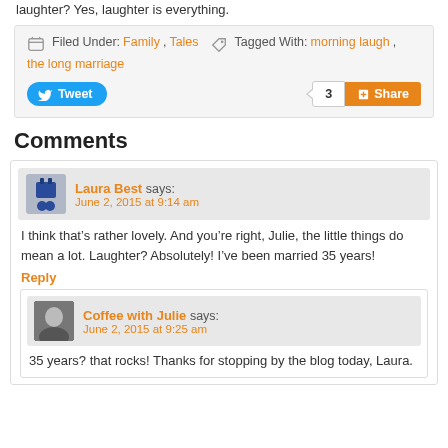laughter? Yes, laughter is everything.
Filed Under: Family, Tales   Tagged With: morning laugh, the long marriage
Tweet   3   Share
Comments
Laura Best says:
June 2, 2015 at 9:14 am
I think that’s rather lovely. And you’re right, Julie, the little things do mean a lot. Laughter? Absolutely! I’ve been married 35 years!
Reply
Coffee with Julie says:
June 2, 2015 at 9:25 am
35 years? that rocks! Thanks for stopping by the blog today, Laura.